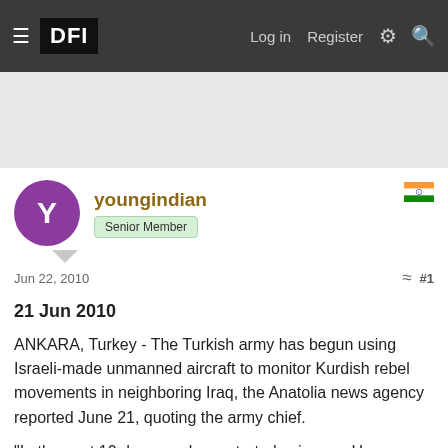DFI | Log in | Register
[Figure (other): Advertisement banner area (gray placeholder)]
youngindian
Senior Member
Jun 22, 2010   #1
21 Jun 2010

ANKARA, Turkey - The Turkish army has begun using Israeli-made unmanned aircraft to monitor Kurdish rebel movements in neighboring Iraq, the Anatolia news agency reported June 21, quoting the army chief.

"In the past 10 days, we have started using our Heron systems... the surveillance systems we bought from Israel, in